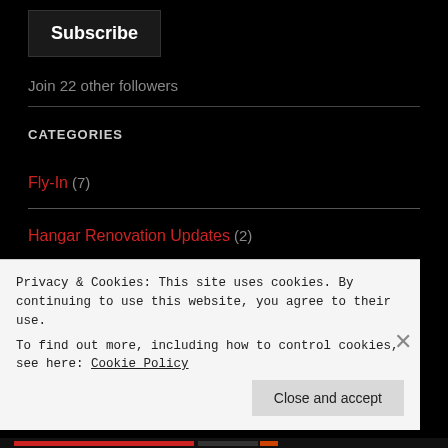Subscribe
Join 22 other followers
CATEGORIES
Fly-In (7)
Hangar Renovation Updates (2)
Uncategorized (1)
Privacy & Cookies: This site uses cookies. By continuing to use this website, you agree to their use.
To find out more, including how to control cookies, see here: Cookie Policy
Close and accept